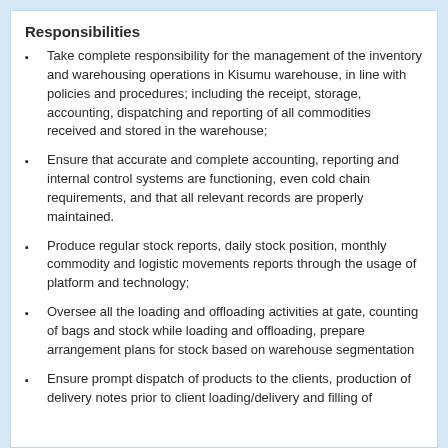Responsibilities
Take complete responsibility for the management of the inventory and warehousing operations in Kisumu warehouse, in line with policies and procedures; including the receipt, storage, accounting, dispatching and reporting of all commodities received and stored in the warehouse;
Ensure that accurate and complete accounting, reporting and internal control systems are functioning, even cold chain requirements, and that all relevant records are properly maintained.
Produce regular stock reports, daily stock position, monthly commodity and logistic movements reports through the usage of platform and technology;
Oversee all the loading and offloading activities at gate, counting of bags and stock while loading and offloading, prepare arrangement plans for stock based on warehouse segmentation
Ensure prompt dispatch of products to the clients, production of delivery notes prior to client loading/delivery and filling of